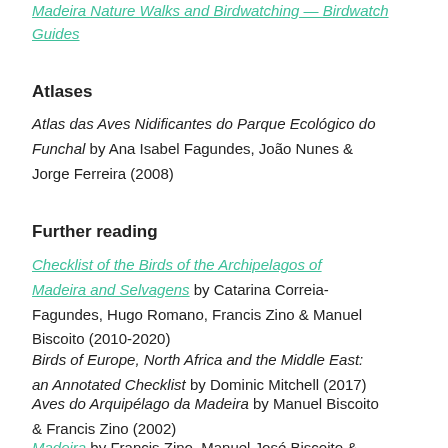Madeira Nature Walks and Birdwatching — Birdwatch Guides
Atlases
Atlas das Aves Nidificantes do Parque Ecológico do Funchal by Ana Isabel Fagundes, João Nunes & Jorge Ferreira (2008)
Further reading
Checklist of the Birds of the Archipelagos of Madeira and Selvagens by Catarina Correia-Fagundes, Hugo Romano, Francis Zino & Manuel Biscoito (2010-2020)
Birds of Europe, North Africa and the Middle East: an Annotated Checklist by Dominic Mitchell (2017)
Aves do Arquipélago da Madeira by Manuel Biscoito & Francis Zino (2002)
Madeira by Francis Zino, Manuel José Biscoito & Paulo Oliveira in Important Bird Areas in Europe: